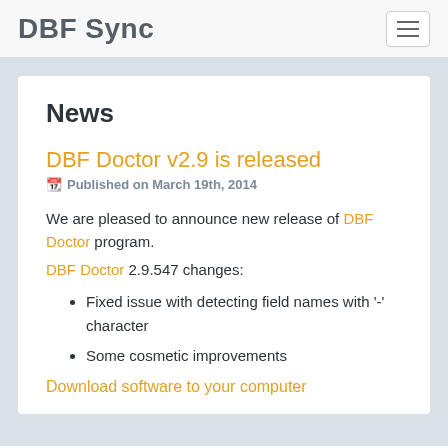DBF Sync
News
DBF Doctor v2.9 is released
Published on March 19th, 2014
We are pleased to announce new release of DBF Doctor program.
DBF Doctor 2.9.547 changes:
Fixed issue with detecting field names with '-' character
Some cosmetic improvements
Download software to your computer